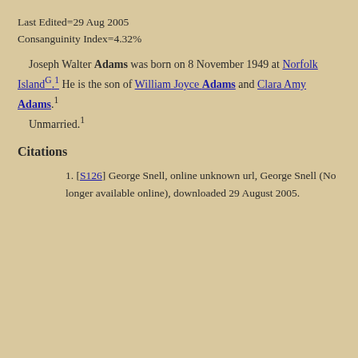Last Edited=29 Aug 2005
Consanguinity Index=4.32%
Joseph Walter Adams was born on 8 November 1949 at Norfolk IslandG.1 He is the son of William Joyce Adams and Clara Amy Adams.1
Unmarried.1
Citations
[S126] George Snell, online unknown url, George Snell (No longer available online), downloaded 29 August 2005.